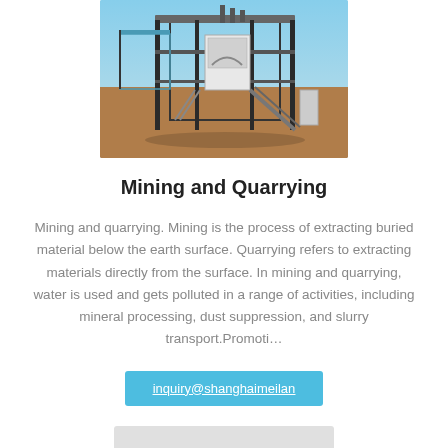[Figure (photo): Industrial mining or quarrying equipment/machinery on a construction site with blue sky background and sandy/dirt ground]
Mining and Quarrying
Mining and quarrying. Mining is the process of extracting buried material below the earth surface. Quarrying refers to extracting materials directly from the surface. In mining and quarrying, water is used and gets polluted in a range of activities, including mineral processing, dust suppression, and slurry transport.Promoti…
inquiry@shanghaimeilan